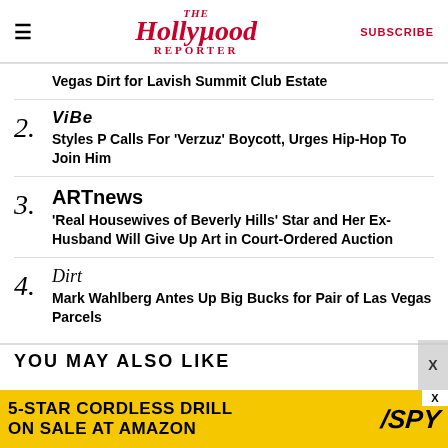The Hollywood Reporter | SUBSCRIBE
Vegas Dirt for Lavish Summit Club Estate
2. VIBE — Styles P Calls For 'Verzuz' Boycott, Urges Hip-Hop To Join Him
3. ARTnews — 'Real Housewives of Beverly Hills' Star and Her Ex-Husband Will Give Up Art in Court-Ordered Auction
4. Dirt — Mark Wahlberg Antes Up Big Bucks for Pair of Las Vegas Parcels
YOU MAY ALSO LIKE
[Figure (other): Advertisement banner: 5-STAR CORDLESS DRILL ON SALE AT AMAZON with SPY logo on yellow background]